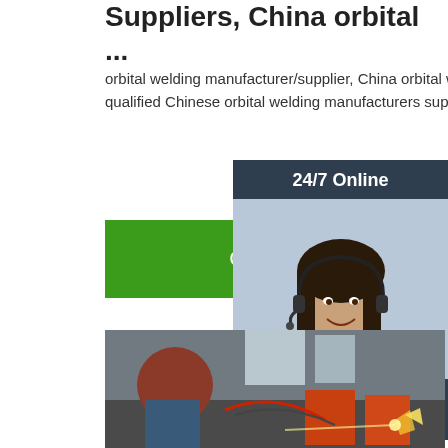Suppliers, China orbital ...
orbital welding manufacturer/supplier, China orbital welding manufacturer & factory list, find qualified Chinese orbital welding manufacturers suppliers, factories, exporters & ...
[Figure (other): Green 'Get Price' button]
[Figure (photo): Woman with headset smiling, 24/7 Online customer service representative with 'Click here for free chat!' and 'QUOTATION' orange button on dark background]
[Figure (photo): Industrial welding scene showing workers in protective gear performing orbital welding with equipment and sparks visible]